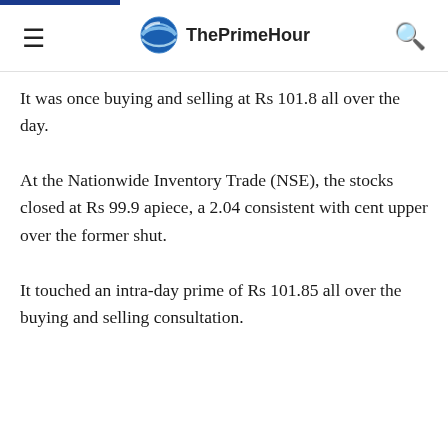ThePrimeHour
It was once buying and selling at Rs 101.8 all over the day.
At the Nationwide Inventory Trade (NSE), the stocks closed at Rs 99.9 apiece, a 2.04 consistent with cent upper over the former shut.
It touched an intra-day prime of Rs 101.85 all over the buying and selling consultation.